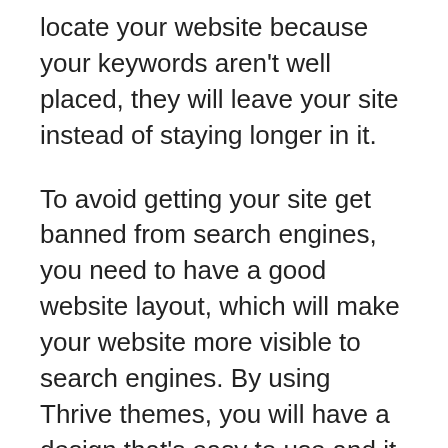locate your website because your keywords aren't well placed, they will leave your site instead of staying longer in it.
To avoid getting your site get banned from search engines, you need to have a good website layout, which will make your website more visible to search engines. By using Thrive themes, you will have a design that's easy to use and it is extremely easy to keep.
A site that is easy to set up is one of the most essential things you need for making your site attractive and easy to install. You will not need to hire somebody who's not an expert to help you install it. Because you'll have the ability to do the installation on your own. It is better if you hire a company that offers installation services since